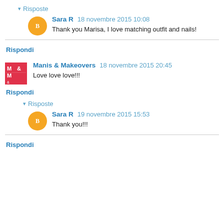▾ Risposte
Sara R  18 novembre 2015 10:08
Thank you Marisa, I love matching outfit and nails!
Rispondi
Manis & Makeovers  18 novembre 2015 20:45
Love love love!!!
Rispondi
▾ Risposte
Sara R  19 novembre 2015 15:53
Thank you!!!
Rispondi